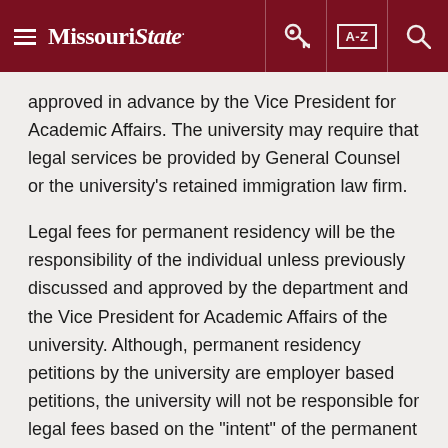Missouri State | A-Z
approved in advance by the Vice President for Academic Affairs. The university may require that legal services be provided by General Counsel or the university's retained immigration law firm.
Legal fees for permanent residency will be the responsibility of the individual unless previously discussed and approved by the department and the Vice President for Academic Affairs of the university. Although, permanent residency petitions by the university are employer based petitions, the university will not be responsible for legal fees based on the "intent" of the permanent residency classification. Unlike the temporary worker visa (H1B) which is a temporary and employer specific status, the foreign national who receives permanent residency is no longer obligated to remain in the employment of the